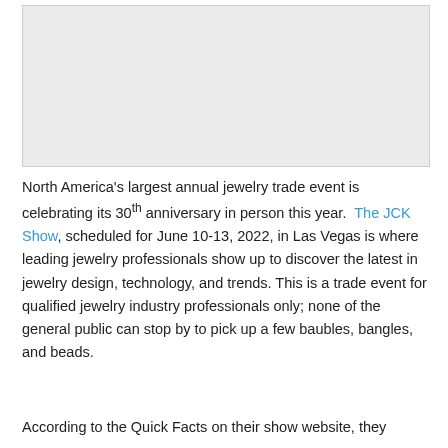[Figure (other): Gray placeholder image area at top of page]
North America's largest annual jewelry trade event is celebrating its 30th anniversary in person this year. The JCK Show, scheduled for June 10-13, 2022, in Las Vegas is where leading jewelry professionals show up to discover the latest in jewelry design, technology, and trends. This is a trade event for qualified jewelry industry professionals only; none of the general public can stop by to pick up a few baubles, bangles, and beads.
According to the Quick Facts on their show website, they